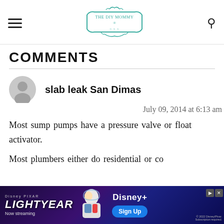THE DIY MOMMY
COMMENTS
slab leak San Dimas
July 09, 2014 at 6:13 am
Most sump pumps have a pressure valve or float activator.
Most plumbers either do residential or co...
[Figure (screenshot): Disney Pixar Lightyear advertisement banner with Sign Up button on Disney+]